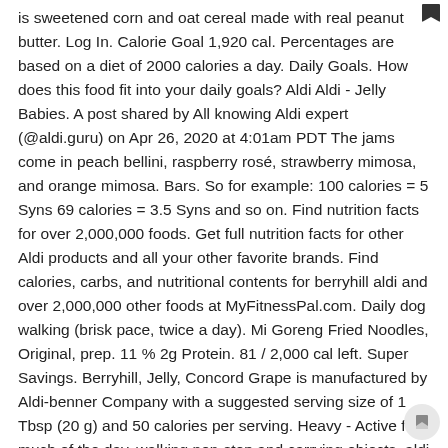is sweetened corn and oat cereal made with real peanut butter. Log In. Calorie Goal 1,920 cal. Percentages are based on a diet of 2000 calories a day. Daily Goals. How does this food fit into your daily goals? Aldi Aldi - Jelly Babies. A post shared by All knowing Aldi expert (@aldi.guru) on Apr 26, 2020 at 4:01am PDT The jams come in peach bellini, raspberry rosé, strawberry mimosa, and orange mimosa. Bars. So for example: 100 calories = 5 Syns 69 calories = 3.5 Syns and so on. Find nutrition facts for over 2,000,000 foods. Get full nutrition facts for other Aldi products and all your other favorite brands. Find calories, carbs, and nutritional contents for berryhill aldi and over 2,000,000 other foods at MyFitnessPal.com. Daily dog walking (brisk pace, twice a day). Mi Goreng Fried Noodles, Original, prep. 11 % 2g Protein. 81 / 2,000 cal left. Super Savings. Berryhill, Jelly, Concord Grape is manufactured by Aldi-benner Company with a suggested serving size of 1 Tbsp (20 g) and 50 calories per serving. Heavy - Active for much of the day, walking non-stop and carrying objects. aldi jelly nutrition facts and nutritional information. ... We track calories and 7 key nutrients - carbs, sugar, fibre, protein, fat, saturated fat and sodium. from the other brands -- plus the low price ($1.39, just cents more), and you've got an undisputed champion. ALDI Finds